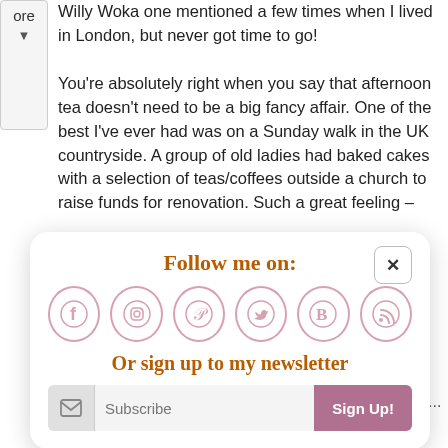Willy Woka one mentioned a few times when I lived in London, but never got time to go!
You're absolutely right when you say that afternoon tea doesn't need to be a big fancy affair. One of the best I've ever had was on a Sunday walk in the UK countryside. A group of old ladies had baked cakes with a selection of teas/coffees outside a church to raise funds for renovation. Such a great feeling –
[Figure (infographic): Follow me on: popup overlay with social media icons (Facebook, Instagram, Pinterest, Twitter, Bloglovin, RSS), newsletter sign-up text in brown handwritten font, subscribe input bar with Sign Up button]
research to be done! I have just had an idea though.... ?